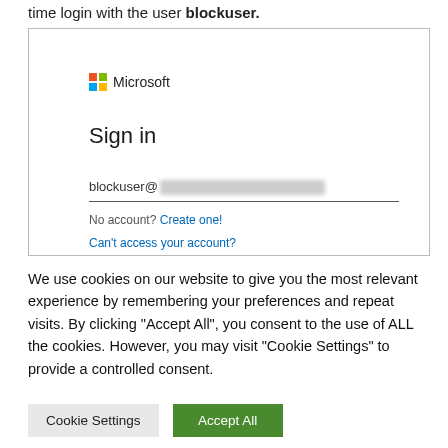time login with the user blockuser.
[Figure (screenshot): Microsoft Sign in dialog showing blockuser@[redacted] email address with 'No account? Create one!' and 'Can't access your account?' links]
We use cookies on our website to give you the most relevant experience by remembering your preferences and repeat visits. By clicking “Accept All”, you consent to the use of ALL the cookies. However, you may visit "Cookie Settings" to provide a controlled consent.